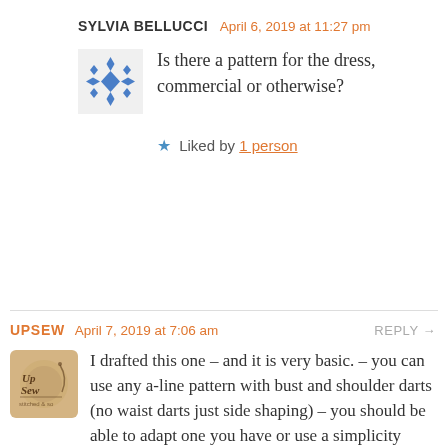SYLVIA BELLUCCI  April 6, 2019 at 11:27 pm
Is there a pattern for the dress, commercial or otherwise?
Liked by 1 person
UPSEW  April 7, 2019 at 7:06 am  REPLY →
I drafted this one – and it is very basic. – you can use any a-line pattern with bust and shoulder darts (no waist darts just side shaping) – you should be able to adapt one you have or use a simplicity vintage (or